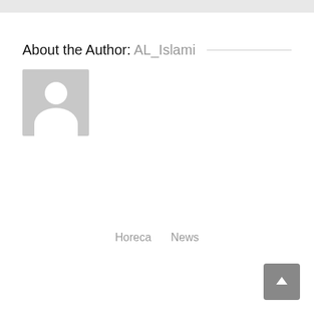About the Author: AL_Islami
[Figure (illustration): Default user avatar placeholder image — grey square with white silhouette of a person (head and shoulders)]
Horeca   News